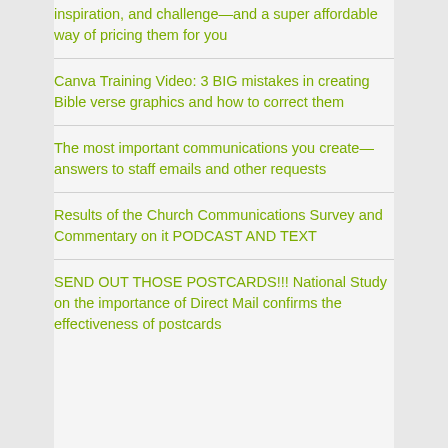inspiration, and challenge—and a super affordable way of pricing them for you
Canva Training Video: 3 BIG mistakes in creating Bible verse graphics and how to correct them
The most important communications you create—answers to staff emails and other requests
Results of the Church Communications Survey and Commentary on it PODCAST AND TEXT
SEND OUT THOSE POSTCARDS!!! National Study on the importance of Direct Mail confirms the effectiveness of postcards